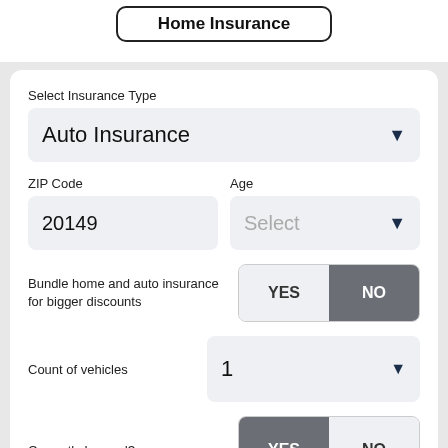Home Insurance
Select Insurance Type
Auto Insurance
ZIP Code
Age
20149
Select
Bundle home and auto insurance for bigger discounts
YES
NO
Count of vehicles
1
Currently Insured?
YES
NO
GET QUOTES NOW